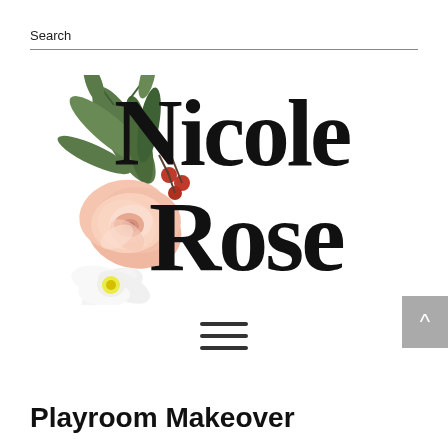Search
[Figure (logo): Nicole Rose blog logo with decorative floral watercolor illustration (pink roses, white flower, green leaves) on the left, and 'Nicole Rose' in bold serif black lettering on the right]
[Figure (other): Hamburger menu icon (three horizontal lines)]
[Figure (other): Back to top button - grey square with white upward chevron arrow]
Playroom Makeover